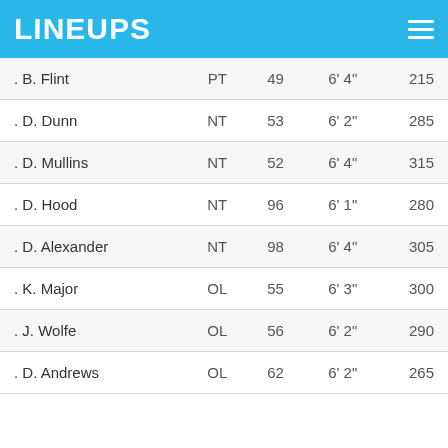LINEUPS
| Name | Pos | # | Ht | Wt |
| --- | --- | --- | --- | --- |
| . B. Flint | PT | 49 | 6' 4" | 215 |
| . D. Dunn | NT | 53 | 6' 2" | 285 |
| . D. Mullins | NT | 52 | 6' 4" | 315 |
| . D. Hood | NT | 96 | 6' 1" | 280 |
| . D. Alexander | NT | 98 | 6' 4" | 305 |
| . K. Major | OL | 55 | 6' 3" | 300 |
| . J. Wolfe | OL | 56 | 6' 2" | 290 |
| . D. Andrews | OL | 62 | 6' 2" | 265 |